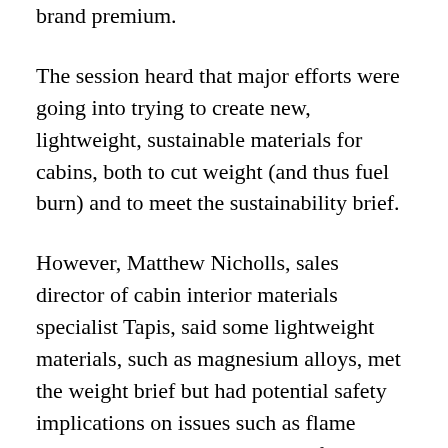brand premium.
The session heard that major efforts were going into trying to create new, lightweight, sustainable materials for cabins, both to cut weight (and thus fuel burn) and to meet the sustainability brief.
However, Matthew Nicholls, sales director of cabin interior materials specialist Tapis, said some lightweight materials, such as magnesium alloys, met the weight brief but had potential safety implications on issues such as flame resistance. Additionally, some of the potentially most promising bio-materials face a major problem in being scaled up from laboratory experiments to commercial usage, he said.
Nicholls knew of one company that had spent eight years and large sums of money trying to create an artificial leather and as yet could only produce it at a